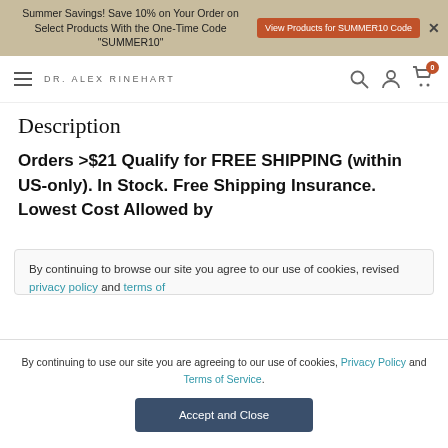Summer Savings! Save 10% on Your Order on Select Products With the One-Time Code "SUMMER10" | View Products for SUMMER10 Code
DR. ALEX RINEHART
Description
Orders >$21 Qualify for FREE SHIPPING (within US-only). In Stock. Free Shipping Insurance. Lowest Cost Allowed by
By continuing to browse our site you agree to our use of cookies, revised privacy policy and terms of
By continuing to use our site you are agreeing to our use of cookies, Privacy Policy and Terms of Service.
Accept and Close